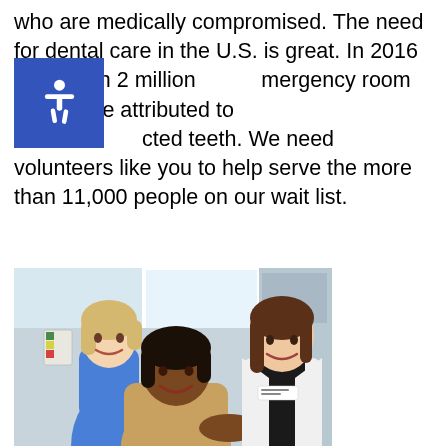who are medically compromised. The need for dental care in the U.S. is great. In 2016 more than 2 million emergency room visits were attributed to infected teeth. We need volunteers like you to help serve the more than 11,000 people on our wait list.
[Figure (photo): Three women in a dental clinic setting: a woman in blue scrubs standing in background, a patient in a tan/beige top seated in foreground center, and a dental professional in a white coat on the right, all smiling.]